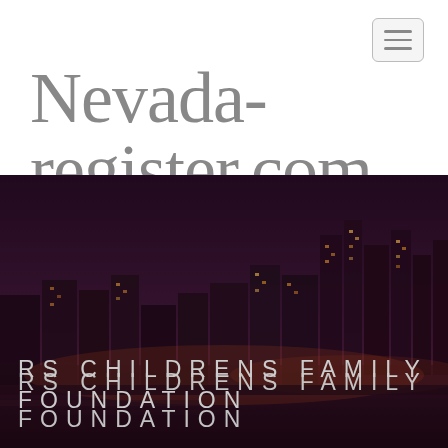Nevada-register.com
[Figure (photo): Night cityscape showing a city skyline with illuminated skyscrapers against a dark purple sky, serving as a hero banner image for the Nevada-register.com website]
RS CHILDRENS FAMILY FOUNDATION